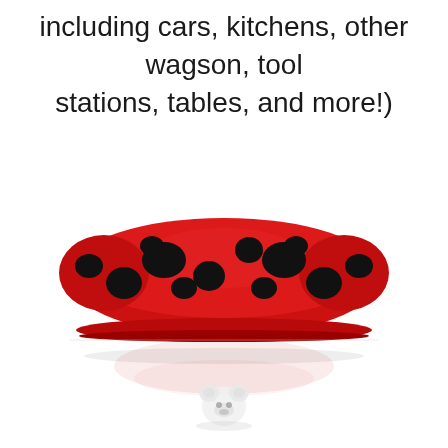including cars, kitchens, other wagson, tool stations, tables, and more!)
[Figure (photo): A red and black spotted ladybug-patterned plush or fabric item (possibly a hat or cushion) sitting on a white reflective surface, with a small white bear/animal figurine visible below it in the reflection.]